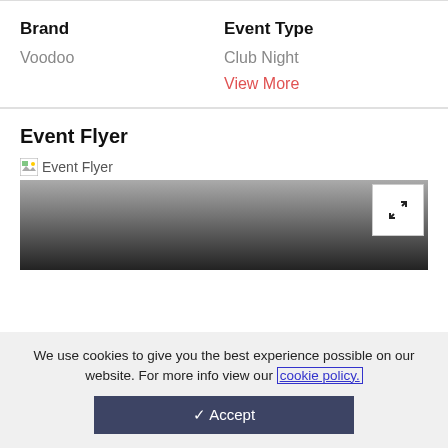Brand
Voodoo
Event Type
Club Night
View More
Event Flyer
[Figure (photo): Event Flyer image placeholder with broken image icon and gradient preview with expand button]
We use cookies to give you the best experience possible on our website. For more info view our cookie policy.
✓ Accept